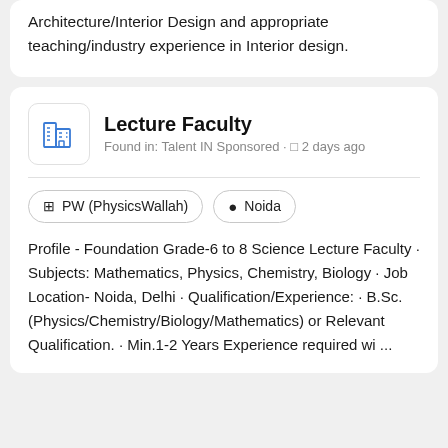Architecture/Interior Design and appropriate teaching/industry experience in Interior design.
Lecture Faculty
Found in: Talent IN Sponsored · 2 days ago
PW (PhysicsWallah)
Noida
Profile - Foundation Grade-6 to 8 Science Lecture Faculty · Subjects: Mathematics, Physics, Chemistry, Biology · Job Location- Noida, Delhi · Qualification/Experience: · B.Sc. (Physics/Chemistry/Biology/Mathematics) or Relevant Qualification. · Min.1-2 Years Experience required wi ...